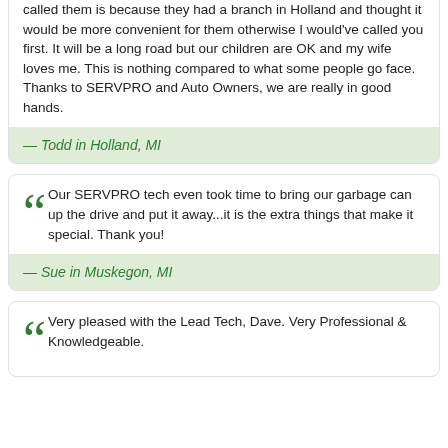called them is because they had a branch in Holland and thought it would be more convenient for them otherwise I would've called you first. It will be a long road but our children are OK and my wife loves me. This is nothing compared to what some people go face. Thanks to SERVPRO and Auto Owners, we are really in good hands.
— Todd in Holland, MI
Our SERVPRO tech even took time to bring our garbage can up the drive and put it away...it is the extra things that make it special. Thank you!
— Sue in Muskegon, MI
Very pleased with the Lead Tech, Dave. Very Professional & Knowledgeable.